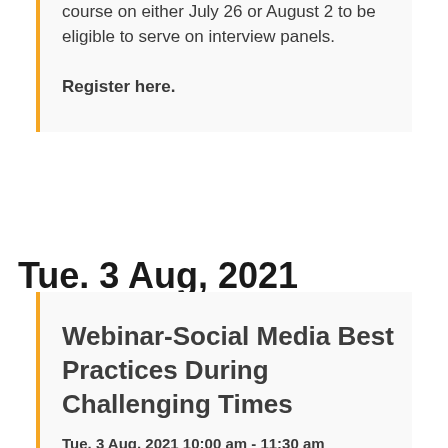course on either July 26 or August 2 to be eligible to serve on interview panels.
Register here.
Tue. 3 Aug, 2021
Webinar-Social Media Best Practices During Challenging Times
Tue. 3 Aug, 2021 10:00 am - 11:30 am